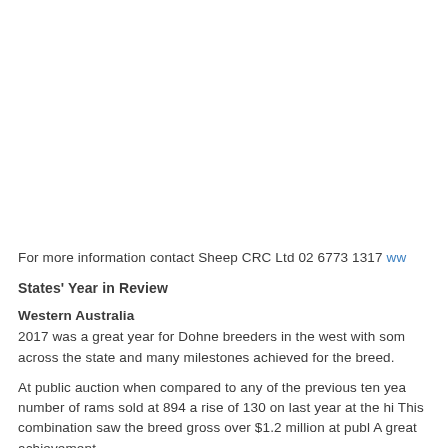For more information contact Sheep CRC Ltd 02 6773 1317 ww
States' Year in Review
Western Australia
2017 was a great year for Dohne breeders in the west with som across the state and many milestones achieved for the breed.
At public auction when compared to any of the previous ten yea number of rams sold at 894 a rise of 130 on last year at the hi This combination saw the breed gross over $1.2 million at publ A great achievement.